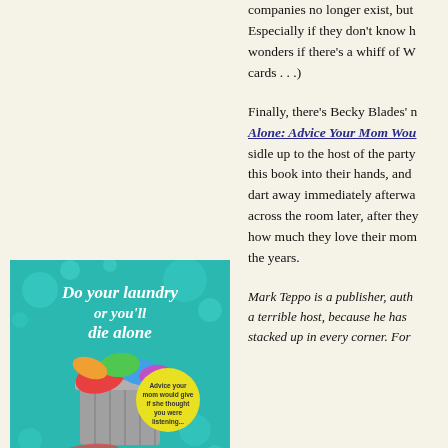companies no longer exist, but Especially if they don't know h wonders if there's a whiff of W cards . . .)
[Figure (illustration): Book cover of 'Do Your Laundry or You'll Die Alone: Advice Your Mom Would Give if She Thought You Were Listening' by Becky Blades. Teal/turquoise background with white handwritten-style title text, overflowing laundry basket in center, yellow circular badge with advice text.]
Finally, there's Becky Blades' new book Alone: Advice Your Mom Wou sidle up to the host of the party this book into their hands, and dart away immediately afterwa across the room later, after they how much they love their mom the years.
Mark Teppo is a publisher, auth a terrible host, because he has stacked up in every corner. For